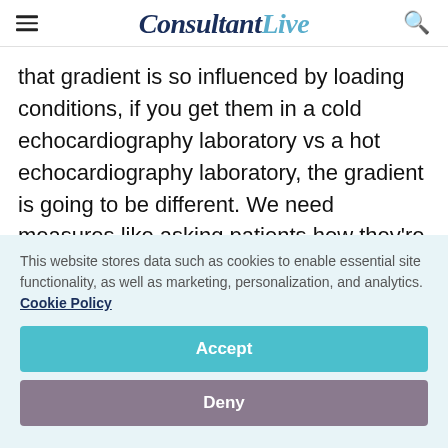ConsultantLive
that gradient is so influenced by loading conditions, if you get them in a cold echocardiography laboratory vs a hot echocardiography laboratory, the gradient is going to be different. We need measures like asking patients how they're doing. For all of our medical therapy, the goal is symptom relief. If the
This website stores data such as cookies to enable essential site functionality, as well as marketing, personalization, and analytics. Cookie Policy
Accept
Deny